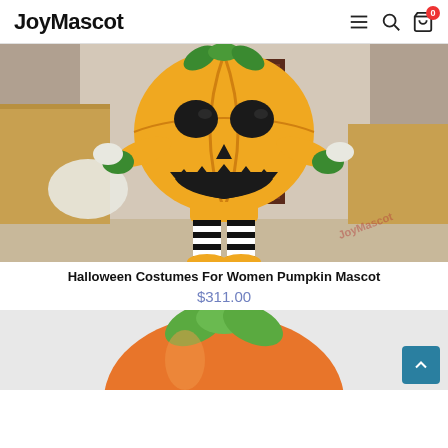JoyMascot
[Figure (photo): A person wearing a yellow pumpkin mascot costume with green leaf decorations, black and white striped stockings, and yellow boots. The pumpkin head has carved face features. The photo is taken indoors.]
Halloween Costumes For Women Pumpkin Mascot
$311.00
[Figure (photo): Partial view of another pumpkin mascot costume showing the top portion - orange pumpkin body with green leaf stem on top, against a light background.]